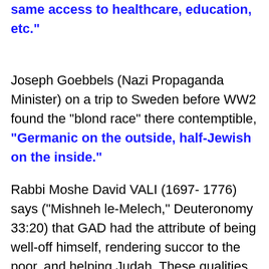same access to healthcare, education, etc."
Joseph Goebbels (Nazi Propaganda Minister) on a trip to Sweden before WW2 found the "blond race" there contemptible, "Germanic on the outside, half-Jewish on the inside."
Rabbi Moshe David VALI (1697- 1776) says ("Mishneh le-Melech," Deuteronomy 33:20) that GAD had the attribute of being well-off himself, rendering succor to the poor, and helping Judah. These qualities fit the